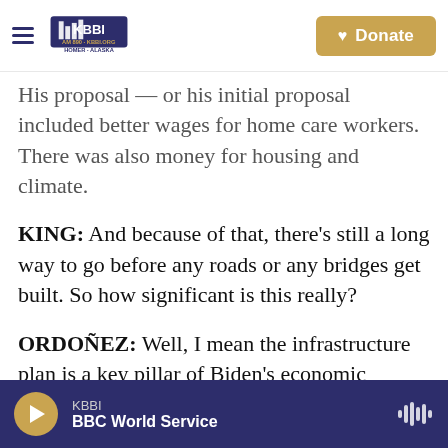KBBI AM 890 KBBI.ORG Homer Alaska | Donate
His proposal — or his initial proposal included better wages for home care workers. There was also money for housing and climate.
KING: And because of that, there's still a long way to go before any roads or any bridges get built. So how significant is this really?
ORDOÑEZ: Well, I mean the infrastructure plan is a key pillar of Biden's economic agenda. And his team is excited. Yesterday, I saw Biden's top economic adviser, Brian Deese, at the White House fist-bumping with the commerce secretary and others just before Biden was to speak. You know
KBBI | BBC World Service